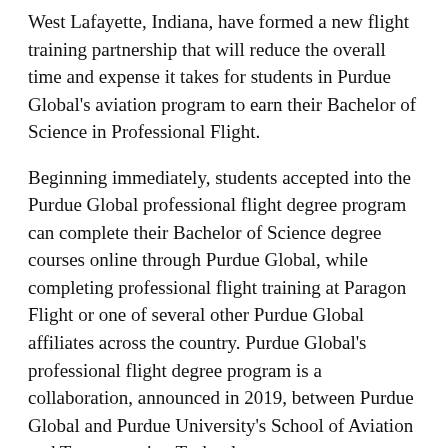West Lafayette, Indiana, have formed a new flight training partnership that will reduce the overall time and expense it takes for students in Purdue Global's aviation program to earn their Bachelor of Science in Professional Flight.
Beginning immediately, students accepted into the Purdue Global professional flight degree program can complete their Bachelor of Science degree courses online through Purdue Global, while completing professional flight training at Paragon Flight or one of several other Purdue Global affiliates across the country. Purdue Global's professional flight degree program is a collaboration, announced in 2019, between Purdue Global and Purdue University's School of Aviation and Transportation Technology.
Paragon Flight's Professional Pilot Program (P3) was